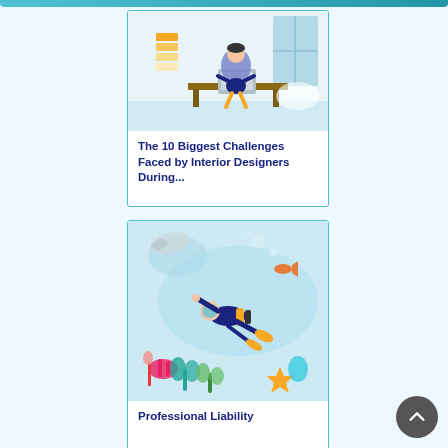[Figure (illustration): Illustration of an interior designer sitting at a desk with color swatches, working on a laptop in an office setting]
The 10 Biggest Challenges Faced by Interior Designers During...
[Figure (illustration): Illustration of a scuba diver underwater surrounded by colorful coral, fish, and aquatic plants]
Professional Liability